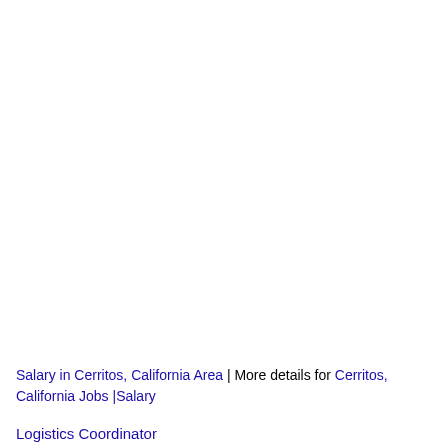Salary in Cerritos, California Area | More details for Cerritos, California Jobs |Salary
Logistics Coordinator